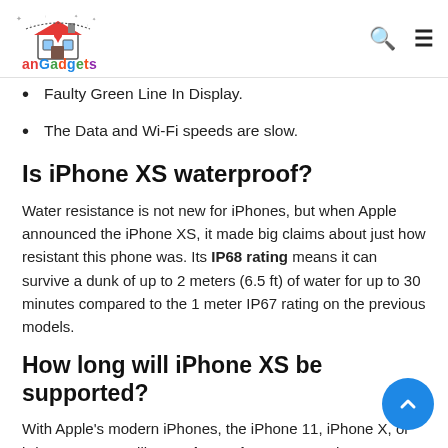anGadgets
Faulty Green Line In Display.
The Data and Wi-Fi speeds are slow.
Is iPhone XS waterproof?
Water resistance is not new for iPhones, but when Apple announced the iPhone XS, it made big claims about just how resistant this phone was. Its IP68 rating means it can survive a dunk of up to 2 meters (6.5 ft) of water for up to 30 minutes compared to the 1 meter IP67 rating on the previous models.
How long will iPhone XS be supported?
With Apple's modern iPhones, the iPhone 11, iPhone X, or iPhone 13, you will get at least six years ' worth